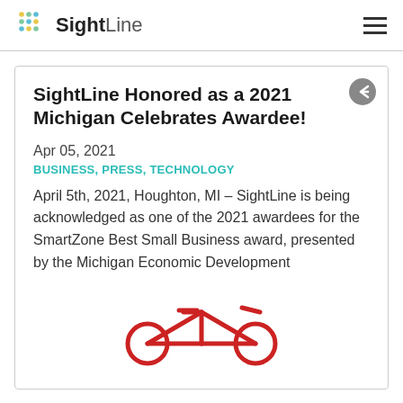SightLine
SightLine Honored as a 2021 Michigan Celebrates Awardee!
Apr 05, 2021
BUSINESS, PRESS, TECHNOLOGY
April 5th, 2021, Houghton, MI – SightLine is being acknowledged as one of the 2021 awardees for the SmartZone Best Small Business award, presented by the Michigan Economic Development
[Figure (illustration): Partial red bicycle illustration at the bottom of the card]